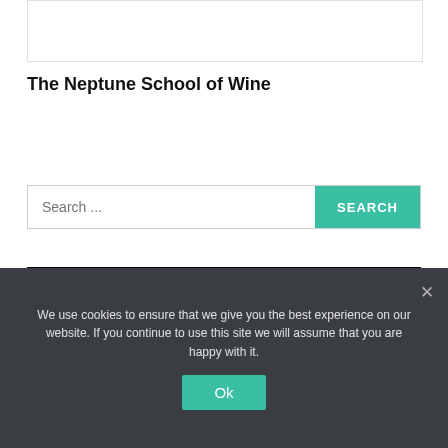[Figure (other): Header image placeholder area with border]
The Neptune School of Wine
[Figure (other): Search bar with text input placeholder 'Search ...' and a teal SEARCH button]
WINE REGIONS
We use cookies to ensure that we give you the best experience on our website. If you continue to use this site we will assume that you are happy with it.